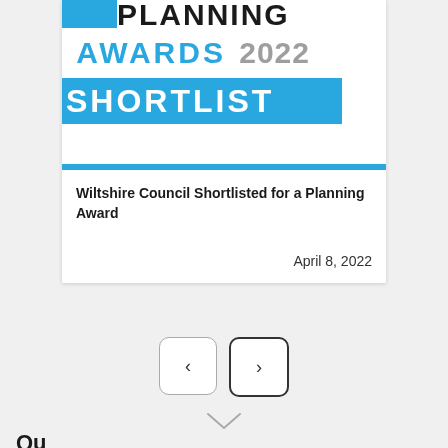[Figure (logo): Planning Awards 2022 Shortlist logo with blue banner and grey year text]
Wiltshire Council Shortlisted for a Planning Award
April 8, 2022
[Figure (other): Navigation previous and next arrow buttons]
[Figure (other): Scroll down chevron indicator]
Quick links